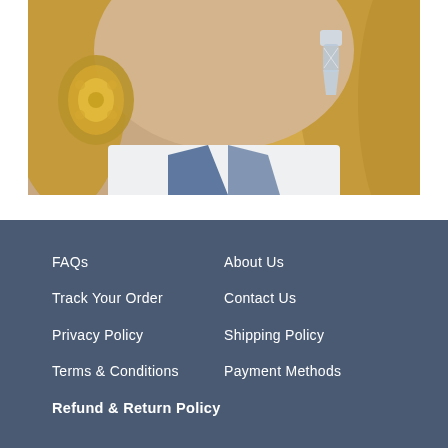[Figure (photo): Close-up photo of a woman with blonde hair wearing ornate gold earrings on the left and crystal drop earrings on the right, wearing a white top with a blue collar detail.]
FAQs
About Us
Track Your Order
Contact Us
Privacy Policy
Shipping Policy
Terms & Conditions
Payment Methods
Refund & Return Policy